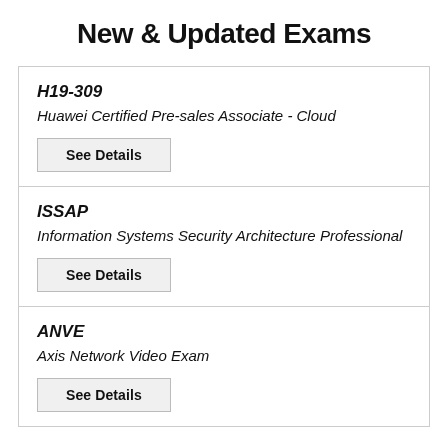New & Updated Exams
H19-309
Huawei Certified Pre-sales Associate - Cloud
See Details
ISSAP
Information Systems Security Architecture Professional
See Details
ANVE
Axis Network Video Exam
See Details